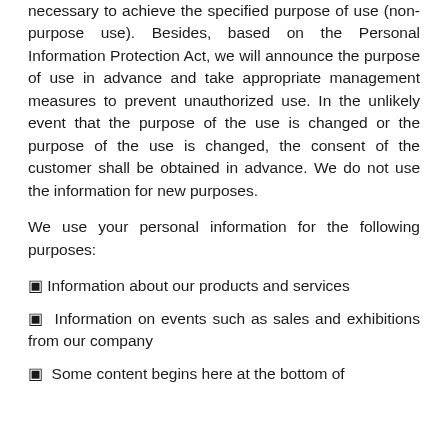necessary to achieve the specified purpose of use (non-purpose use). Besides, based on the Personal Information Protection Act, we will announce the purpose of use in advance and take appropriate management measures to prevent unauthorized use. In the unlikely event that the purpose of the use is changed or the purpose of the use is changed, the consent of the customer shall be obtained in advance. We do not use the information for new purposes.
We use your personal information for the following purposes:
▣ Information about our products and services
▣  Information on events such as sales and exhibitions from our company
▣  Some text continuing at the bottom of the page